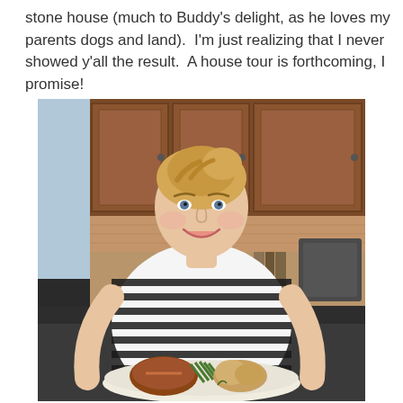stone house (much to Buddy's delight, as he loves my parents dogs and land).  I'm just realizing that I never showed y'all the result.  A house tour is forthcoming, I promise!
[Figure (photo): A smiling blonde woman in a black and white striped shirt standing in a kitchen, holding a plate of food including what appears to be steak, asparagus, and potatoes. The kitchen has dark wood cabinets in the background.]